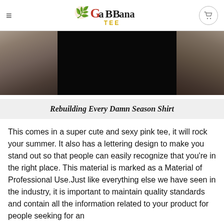GaBBana TEE
[Figure (photo): Person holding/stretching a black t-shirt, hands visible on left and right side of the dark garment]
Rebuilding Every Damn Season Shirt
This comes in a super cute and sexy pink tee, it will rock your summer. It also has a lettering design to make you stand out so that people can easily recognize that you're in the right place. This material is marked as a Material of Professional Use.Just like everything else we have seen in the industry, it is important to maintain quality standards and contain all the information related to your product for people seeking for an